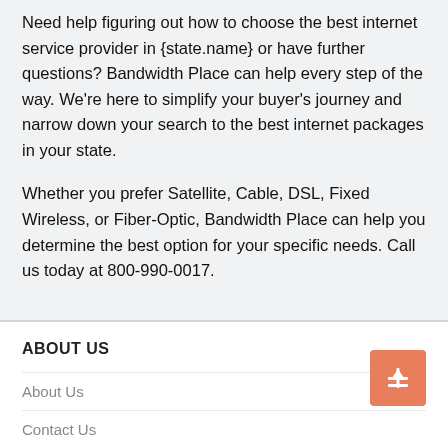Need help figuring out how to choose the best internet service provider in {state.name} or have further questions? Bandwidth Place can help every step of the way. We’re here to simplify your buyer’s journey and narrow down your search to the best internet packages in your state.
Whether you prefer Satellite, Cable, DSL, Fixed Wireless, or Fiber-Optic, Bandwidth Place can help you determine the best option for your specific needs. Call us today at 800-990-0017.
ABOUT US
About Us
Contact Us